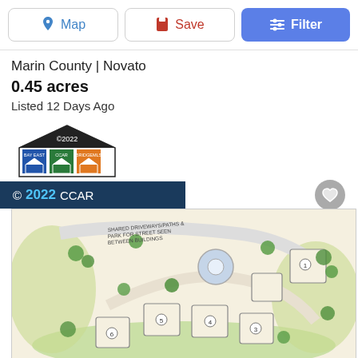Map | Save | Filter
Marin County | Novato
0.45 acres
Listed 12 Days Ago
[Figure (logo): Bay East, CCAR, bridgeMLS logos in a house icon shape, copyright 2022]
© 2022 CCAR
[Figure (engineering-diagram): Aerial site plan / architectural drawing showing numbered building lots (1-6) arranged around shared driveways and green spaces, with trees, circular roundabout feature, and handwritten annotation about shared driveways and parking]